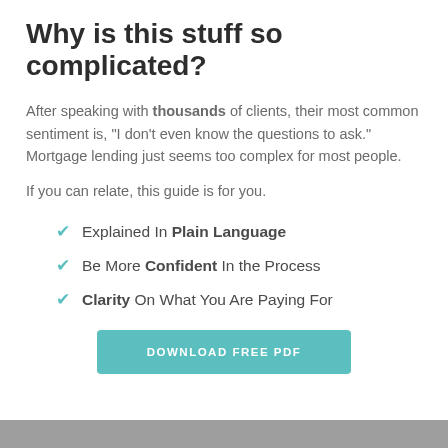Why is this stuff so complicated?
After speaking with thousands of clients, their most common sentiment is, "I don't even know the questions to ask." Mortgage lending just seems too complex for most people.
If you can relate, this guide is for you.
Explained In Plain Language
Be More Confident In the Process
Clarity On What You Are Paying For
DOWNLOAD FREE PDF